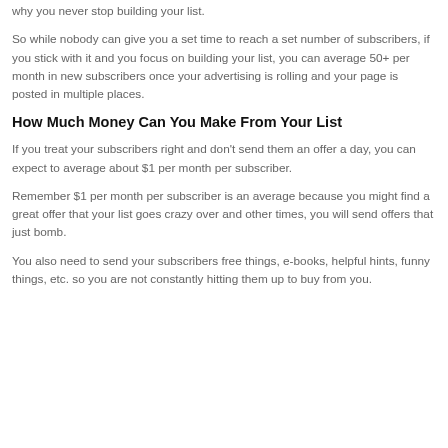why you never stop building your list.
So while nobody can give you a set time to reach a set number of subscribers, if you stick with it and you focus on building your list, you can average 50+ per month in new subscribers once your advertising is rolling and your page is posted in multiple places.
How Much Money Can You Make From Your List
If you treat your subscribers right and don't send them an offer a day, you can expect to average about $1 per month per subscriber.
Remember $1 per month per subscriber is an average because you might find a great offer that your list goes crazy over and other times, you will send offers that just bomb.
You also need to send your subscribers free things, e-books, helpful hints, funny things, etc. so you are not constantly hitting them up to buy from you.